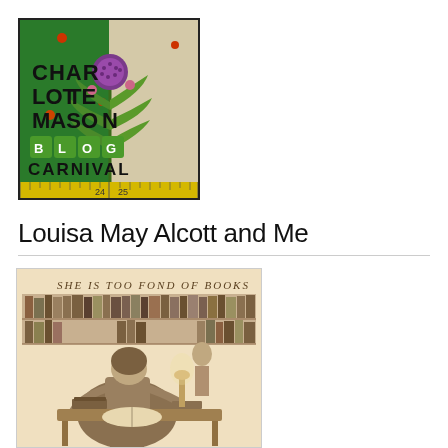[Figure (logo): Charlotte Mason Blog Carnival logo — colorful square with botanical illustration, green background on left half, beige/white on right half, featuring a large flowering plant in center, text 'Charlotte Mason' in large letters, 'BLOG' in green boxes, 'CARNIVAL' below, ruler strip at bottom]
Louisa May Alcott and Me
[Figure (illustration): Vintage sepia-toned illustration of a woman reading/writing at a desk surrounded by bookshelves filled with books, another figure visible in background. Text at top reads 'She is too fond of books']